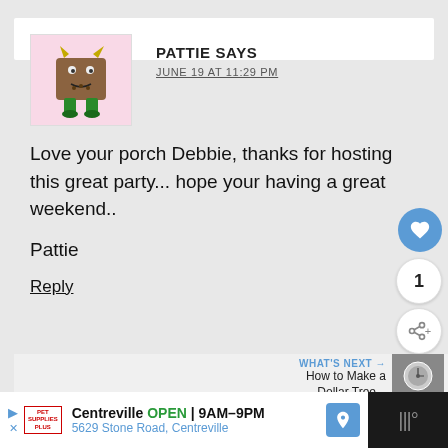[Figure (illustration): Cartoon monster avatar with brown body, green legs, and small horns on pink background]
PATTIE SAYS
JUNE 19 AT 11:29 PM
Love your porch Debbie, thanks for hosting this great party... hope your having a great weekend..
Pattie
Reply
WHAT'S NEXT → How to Make a Dollar Tree...
HOUSEDRESSINGBLOG.BLOGSPOT.COM SAYS
Centreville OPEN 9AM–9PM 5629 Stone Road, Centreville